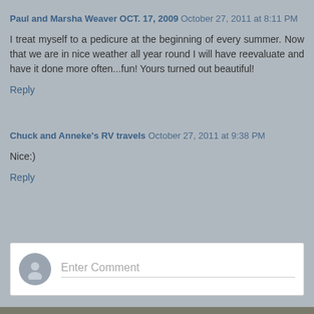Paul and Marsha Weaver OCT. 17, 2009 October 27, 2011 at 8:11 PM
I treat myself to a pedicure at the beginning of every summer. Now that we are in nice weather all year round I will have reevaluate and have it done more often...fun! Yours turned out beautiful!
Reply
Chuck and Anneke's RV travels October 27, 2011 at 9:38 PM
Nice:)
Reply
Enter Comment